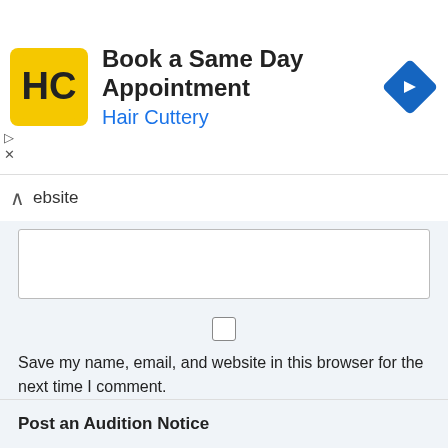[Figure (screenshot): Hair Cuttery advertisement banner with logo, 'Book a Same Day Appointment' text, and navigation arrow icon]
ebsite
Save my name, email, and website in this browser for the next time I comment.
Post Comment
Please be aware that the casting notices and jobs are posted to the site by third parties and casting info available is "as is" without any verification of authenticity. Please read the full auditions free disclaimer also please read the article about acting and modeling scams
Post an Audition Notice